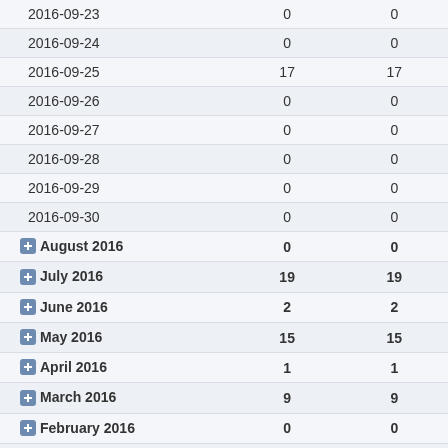|  |  |  |
| --- | --- | --- |
| 2016-09-23 | 0 | 0 |
| 2016-09-24 | 0 | 0 |
| 2016-09-25 | 17 | 17 |
| 2016-09-26 | 0 | 0 |
| 2016-09-27 | 0 | 0 |
| 2016-09-28 | 0 | 0 |
| 2016-09-29 | 0 | 0 |
| 2016-09-30 | 0 | 0 |
| August 2016 | 0 | 0 |
| July 2016 | 19 | 19 |
| June 2016 | 2 | 2 |
| May 2016 | 15 | 15 |
| April 2016 | 1 | 1 |
| March 2016 | 9 | 9 |
| February 2016 | 0 | 0 |
| January 2016 | 8 | 8 |
| 2015 | 35 | 35 |
| 2014 | 49 | 50 |
| 2013 | 28 | 28 |